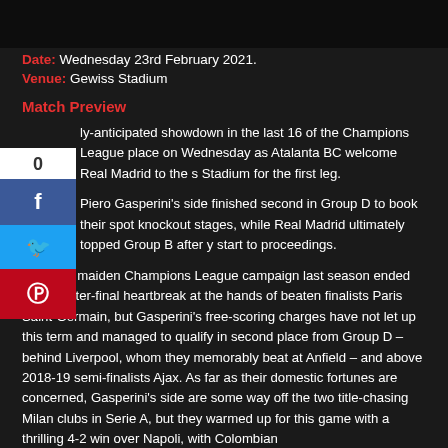[Figure (photo): Dark top banner image, partial view of a stadium or match preview graphic]
Date: Wednesday 23rd February 2021.
Venue: Gewiss Stadium
Match Preview
...ly-anticipated showdown in the last 16 of the Champions League place on Wednesday as Atalanta BC welcome Real Madrid to the s Stadium for the first leg.
Piero Gasperini's side finished second in Group D to book their spot knockout stages, while Real Madrid ultimately topped Group B after y start to proceedings.
La Dea's maiden Champions League campaign last season ended with quarter-final heartbreak at the hands of beaten finalists Paris Saint-Germain, but Gasperini's free-scoring charges have not let up this term and managed to qualify in second place from Group D – behind Liverpool, whom they memorably beat at Anfield – and above 2018-19 semi-finalists Ajax. As far as their domestic fortunes are concerned, Gasperini's side are some way off the two title-chasing Milan clubs in Serie A, but they warmed up for this game with a thrilling 4-2 win over Napoli, with Colombian